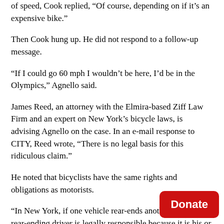of speed, Cook replied, “Of course, depending on if it’s an expensive bike.”
Then Cook hung up. He did not respond to a follow-up message.
“If I could go 60 mph I wouldn’t be here, I’d be in the Olympics,” Agnello said.
James Reed, an attorney with the Elmira-based Ziff Law Firm and an expert on New York’s bicycle laws, is advising Agnello on the case. In an e-mail response to CITY, Reed wrote, “There is no legal basis for this ridiculous claim.”
He noted that bicyclists have the same rights and obligations as motorists.
“In New York, if one vehicle rear-ends another vehicle, the rear-ending driver is legally responsible because it is his or her legal duty to keep their car under proper control so as to not rear-end another vehicle,” Reed wrote. “And this is true whether it is raining or snowing, day or not.”
Cook and Agnello are scheduled to appear before a judge on March 25.
[Figure (other): Donate button (red rounded rectangle with white bold text 'Donate')]